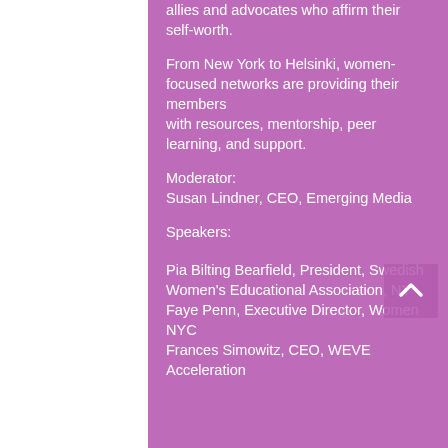allies and advocates who affirm their self-worth.
From New York to Helsinki, women-focused networks are providing their members with resources, mentorship, peer learning, and support.
Moderator:
Susan Lindner, CEO, Emerging Media
Speakers:
Pia Bilting Bearfield, President, Swedish Women's Educational Association, NY
Faye Penn, Executive Director, Women NYC
Frances Simowitz, CEO, WEVE Acceleration